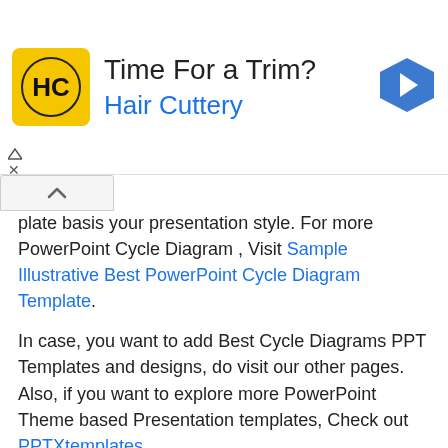[Figure (other): Advertisement banner for Hair Cuttery: yellow square logo with 'HC' initials, title 'Time For a Trim?', subtitle 'Hair Cuttery' in blue, and a blue diamond-shaped arrow icon on the right.]
plate basis your presentation style. For more PowerPoint Cycle Diagram , Visit Sample Illustrative Best PowerPoint Cycle Diagram Template.
In case, you want to add Best Cycle Diagrams PPT Templates and designs, do visit our other pages. Also, if you want to explore more PowerPoint Theme based Presentation templates, Check out PPTXtemplates.
What is infographic
An infographic example is a visual representation of information. Infographics examples include a variety of elements, such as images, icons, text, charts, and diagrams to convey messages at a glance.
What makes a good infographic